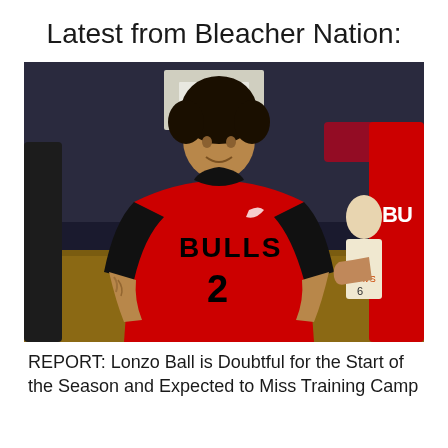Latest from Bleacher Nation:
[Figure (photo): NBA player Lonzo Ball wearing a Chicago Bulls red jersey number 2, looking upward on a basketball court during a game, with another Bulls player in the foreground and background players visible.]
REPORT: Lonzo Ball is Doubtful for the Start of the Season and Expected to Miss Training Camp